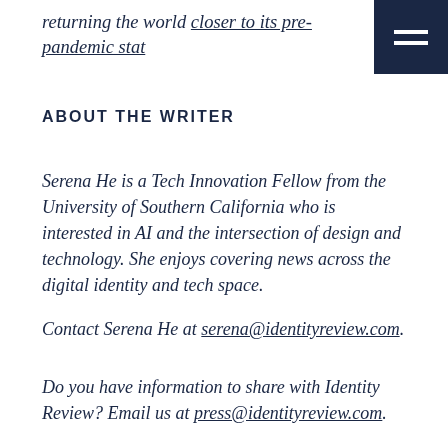returning the world closer to its pre-pandemic stat
ABOUT THE WRITER
Serena He is a Tech Innovation Fellow from the University of Southern California who is interested in AI and the intersection of design and technology. She enjoys covering news across the digital identity and tech space.
Contact Serena He at serena@identityreview.com.
Do you have information to share with Identity Review? Email us at press@identityreview.com.